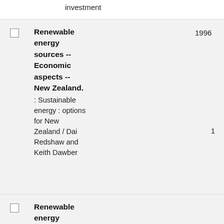investment
Renewable energy sources -- Economic aspects -- New Zealand. : Sustainable energy : options for New Zealand / Dai Redshaw and Keith Dawber
Renewable energy sources --